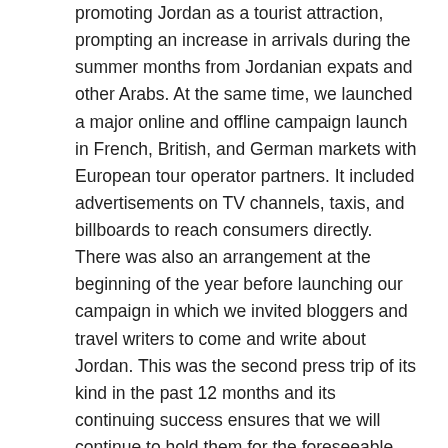promoting Jordan as a tourist attraction, prompting an increase in arrivals during the summer months from Jordanian expats and other Arabs. At the same time, we launched a major online and offline campaign launch in French, British, and German markets with European tour operator partners. It included advertisements on TV channels, taxis, and billboards to reach consumers directly. There was also an arrangement at the beginning of the year before launching our campaign in which we invited bloggers and travel writers to come and write about Jordan. This was the second press trip of its kind in the past 12 months and its continuing success ensures that we will continue to hold them for the foreseeable future.

We are also constantly working with the Royal Film Commission to promote Jordan as a film destination and present the country